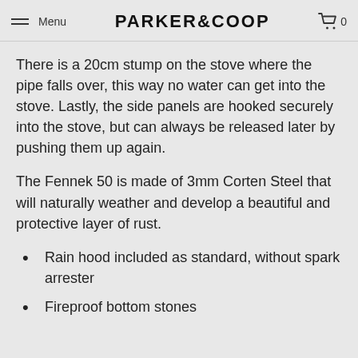Menu | PARKER&COOP | 0
There is a 20cm stump on the stove where the pipe falls over, this way no water can get into the stove. Lastly, the side panels are hooked securely into the stove, but can always be released later by pushing them up again.
The Fennek 50 is made of 3mm Corten Steel that will naturally weather and develop a beautiful and protective layer of rust.
Rain hood included as standard, without spark arrester
Fireproof bottom stones